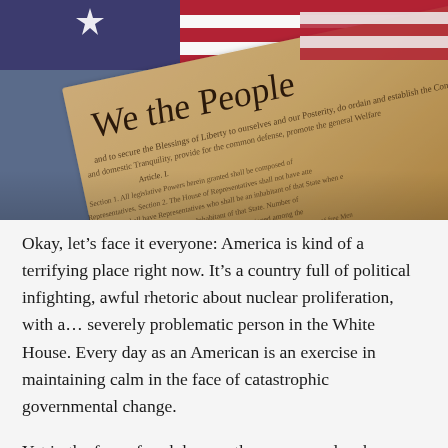[Figure (photo): Photo of the US Constitution 'We the People' preamble overlaid with an American flag showing red, white, and blue stripes and a white star.]
Okay, let's face it everyone: America is kind of a terrifying place right now. It's a country full of political infighting, awful rhetoric about nuclear proliferation, with a… severely problematic person in the White House. Every day as an American is an exercise in maintaining calm in the face of catastrophic governmental change.
Yet in the face of such horror, there are people who